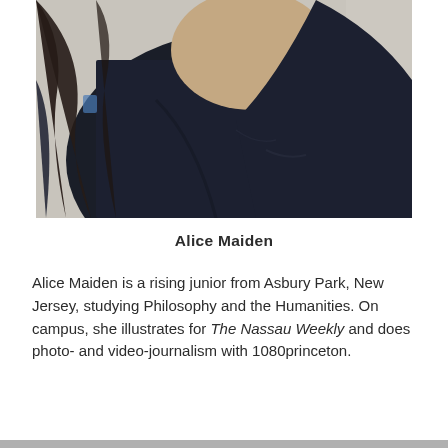[Figure (photo): Photograph of Alice Maiden, a young woman with dark hair wearing a black long-sleeve top, shown from approximately chin level down, against a light background.]
Alice Maiden
Alice Maiden is a rising junior from Asbury Park, New Jersey, studying Philosophy and the Humanities. On campus, she illustrates for The Nassau Weekly and does photo- and video-journalism with 1080princeton.